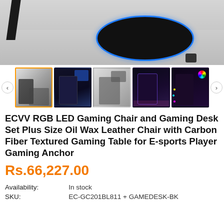[Figure (photo): Main product photo showing gaming chair base with blue LED ring on light wood floor, top-down partial view]
[Figure (photo): Thumbnail gallery of 5 product photos: (1) gaming chair+desk set in room, (2) gaming desk with blue lighting, (3) gaming chair and desk in bright room, (4) gaming chair in dark RGB room, (5) gaming chair with RGB LED lighting closeup]
ECVV RGB LED Gaming Chair and Gaming Desk Set Plus Size Oil Wax Leather Chair with Carbon Fiber Textured Gaming Table for E-sports Player Gaming Anchor
Rs.66,227.00
| Availability: | In stock |
| SKU: | EC-GC201BL811 + GAMEDESK-BK |